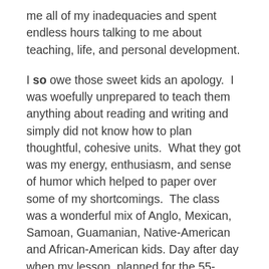me all of my inadequacies and spent endless hours talking to me about teaching, life, and personal development.
I so owe those sweet kids an apology. I was woefully unprepared to teach them anything about reading and writing and simply did not know how to plan thoughtful, cohesive units. What they got was my energy, enthusiasm, and sense of humor which helped to paper over some of my shortcomings. The class was a wonderful mix of Anglo, Mexican, Samoan, Guamanian, Native-American and African-American kids. Day after day when my lesson, planned for the 55-minute period, expired after 40 minutes, instead of giving up and giving them “free time” I’d go from student to student and check in with them, badger them about missing homework, find out what they were up to outside of